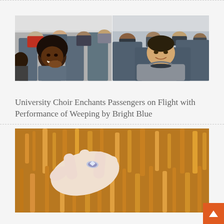[Figure (photo): Two side-by-side photos of airplane passengers. Left photo shows a laughing Black woman with natural hair in airplane seat; right photo shows a young man smiling in an airplane seat wearing a gray hoodie, with other passengers visible in background.]
University Choir Enchants Passengers on Flight with Performance of Weeping by Bright Blue
[Figure (photo): Close-up photo of a hand with a ring petting a golden-furred dog or animal.]